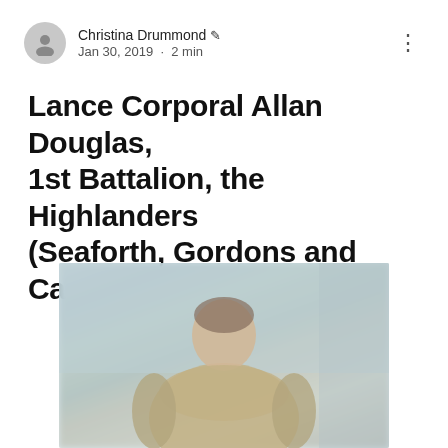Christina Drummond ✍ Jan 30, 2019 · 2 min
Lance Corporal Allan Douglas, 1st Battalion, the Highlanders (Seaforth, Gordons and Camerons)
[Figure (photo): Blurred photograph of a soldier in military uniform, smiling, with a blurred background]